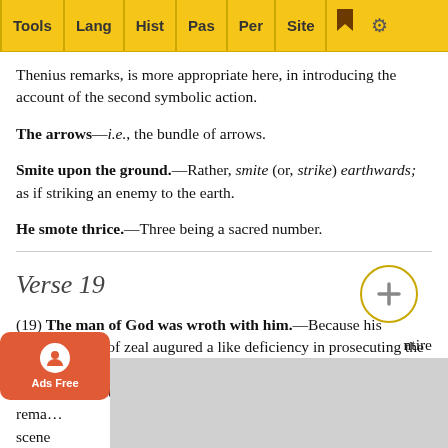Tools | Lang | Hist | Pas | Per | Site
Thenius remarks, is more appropriate here, in introducing the account of the second symbolic action.
The arrows—i.e., the bundle of arrows.
Smite upon the ground.—Rather, smite (or, strike) earthwards; as if striking an enemy to the earth.
He smote thrice.—Three being a sacred number.
Verse 19
(19) The man of God was wroth with him.—Because his apparent want of zeal augured a like deficiency in prosecuting the war hereafter. The natural irritability of the sick man may also have had something to do with it. The above remarks... entire scene... just